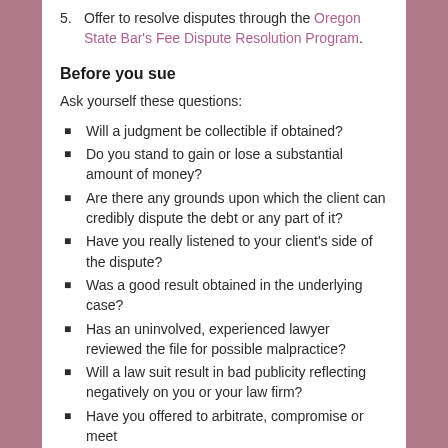5. Offer to resolve disputes through the Oregon State Bar's Fee Dispute Resolution Program.
Before you sue
Ask yourself these questions:
Will a judgment be collectible if obtained?
Do you stand to gain or lose a substantial amount of money?
Are there any grounds upon which the client can credibly dispute the debt or any part of it?
Have you really listened to your client's side of the dispute?
Was a good result obtained in the underlying case?
Has an uninvolved, experienced lawyer reviewed the file for possible malpractice?
Will a law suit result in bad publicity reflecting negatively on you or your law firm?
Have you offered to arbitrate, compromise or meet